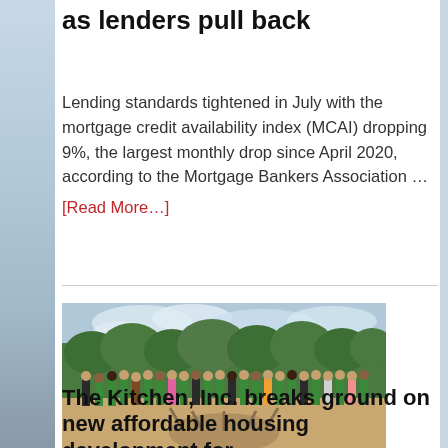as lenders pull back
Lending standards tightened in July with the mortgage credit availability index (MCAI) dropping 9%, the largest monthly drop since April 2020, according to the Mortgage Bankers Association …
[Read More...]
[Figure (photo): A large group of people standing outdoors at a groundbreaking ceremony on a dirt field with trees in the background. Many participants are wearing green shirts and holding signs.]
The Kitchen, Inc. breaks ground on new affordable housing development for